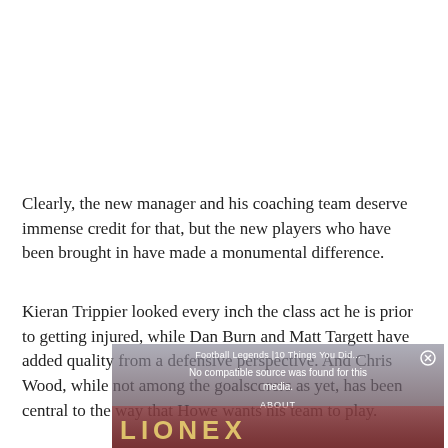Clearly, the new manager and his coaching team deserve immense credit for that, but the new players who have been brought in have made a monumental difference.
Kieran Trippier looked every inch the class act he is prior to getting injured, while Dan Burn and Matt Targett have added quality from a defensive perspective. And Chris Wood, while not among the goalscorers as yet, has been central to the way that Howe wants his team to play.
[Figure (screenshot): Video player overlay with text 'Football Legends |10 Things You Did...' and 'No compatible source was found for this media.' and 'ABOUT' label, overlaid on a reddish background image with partial 'LIONEL' text visible.]